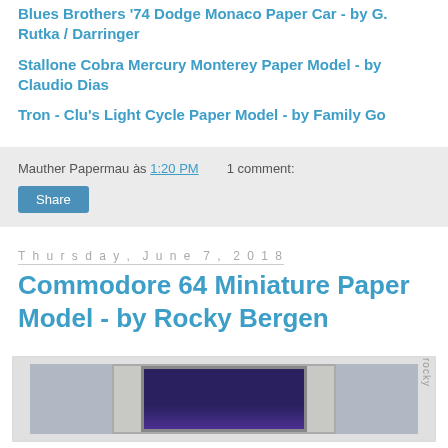Blues Brothers '74 Dodge Monaco Paper Car - by G. Rutka / Darringer
Stallone Cobra Mercury Monterey Paper Model - by Claudio Dias
Tron - Clu's Light Cycle Paper Model - by Family Go
Mauther Papermau às 1:20 PM   1 comment:
Share
Thursday, June 7, 2018
Commodore 64 Miniature Paper Model - by Rocky Bergen
[Figure (photo): Photo of a Commodore 64 miniature paper model by Rocky Bergen, showing a beige/grey computer with a dark blue keyboard screen area]